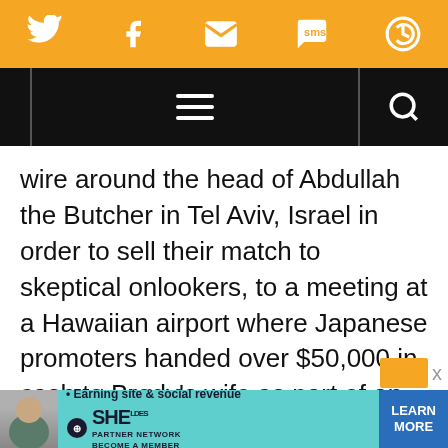[Figure (screenshot): Orange social sharing bar with Twitter, Facebook, Email, SMS, and share icons in white on orange background]
[Figure (screenshot): Black navigation bar with hamburger menu icon centered and search icon on the right]
wire around the head of Abdullah the Butcher in Tel Aviv, Israel in order to sell their match to skeptical onlookers, to a meeting at a Hawaiian airport where Japanese promoters handed over $50,000 in cash to Brody’s wife as part of an elaborate deal to convince Brody to return to Japan, Murray follows the path of Brody’s life to the far-flung areas that he inhabited. “When you watch his matches,” says Murray, “and you lo
[Figure (screenshot): Advertisement banner: SHE Partner Network - Earning site & social revenue - Learn More button]